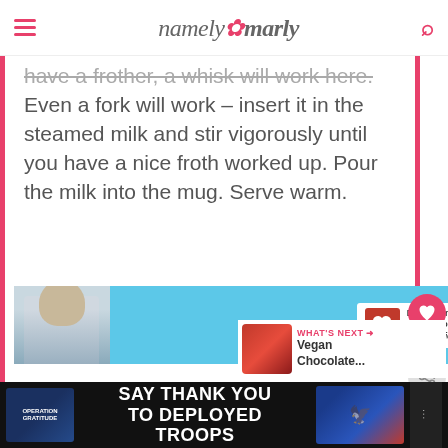namely marly
have a frother, a whisk will work here. Even a fork will work – insert it in the steamed milk and stir vigorously until you have a nice froth worked up. Pour the milk into the mug. Serve warm.
[Figure (infographic): Dave Thomas Foundation for Adoption advertisement banner with a boy's photo on the left and the foundation logo on a light blue background]
[Figure (infographic): Social sidebar with heart/like button showing 839 count and a share button]
[Figure (infographic): What's Next promo showing Vegan Chocolate... with a thumbnail image]
[Figure (infographic): Operation Gratitude bottom banner ad: SAY THANK YOU TO DEPLOYED TROOPS]